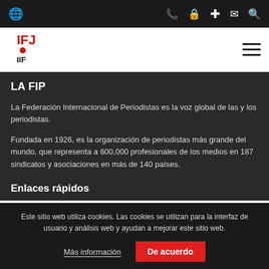IFJ / FIP logo and navigation bar with globe icon, phone, lock, plus, mail, search icons
[Figure (logo): IFJ FIP logo in black and red text, stacked initials]
LA FIP
La Federación Internacional de Periodistas es la voz global de las y los periodistas.
Fundada en 1926, es la organización de periodistas más grande del mundo, que representa a 600,000 profesionales de los medios en 187 sindicatos y asociaciones en más de 140 países.
Enlaces rápidos
Este sitio web utiliza cookies. Las cookies se utilizan para la interfaz de usuario y análisis web y ayudan a mejorar este sitio web.
Más información | De acuerdo